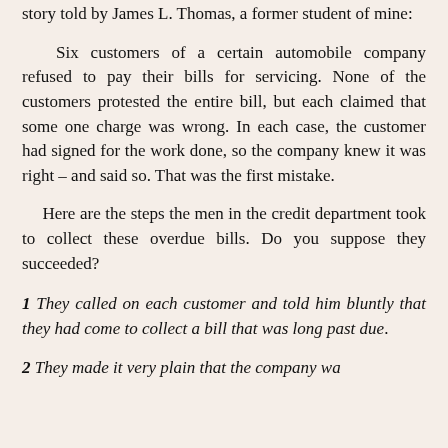story told by James L. Thomas, a former student of mine:
Six customers of a certain automobile company refused to pay their bills for servicing. None of the customers protested the entire bill, but each claimed that some one charge was wrong. In each case, the customer had signed for the work done, so the company knew it was right – and said so. That was the first mistake.
Here are the steps the men in the credit department took to collect these overdue bills. Do you suppose they succeeded?
1 They called on each customer and told him bluntly that they had come to collect a bill that was long past due.
2 They made it very plain that the company wa…